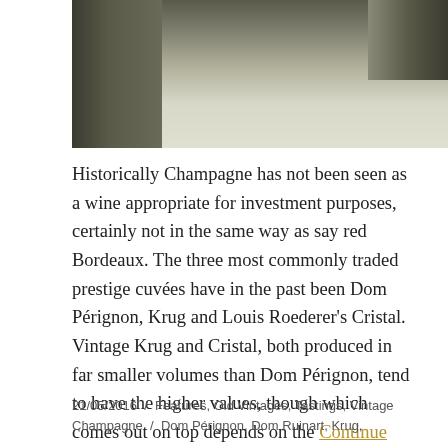[Figure (photo): Partial view of champagne bottles from above on a light surface, showing the tops/foil capsules.]
Historically Champagne has not been seen as a wine appropriate for investment purposes, certainly not in the same way as say red Bordeaux. The three most commonly traded prestige cuvées have in the past been Dom Pérignon, Krug and Louis Roederer's Cristal. Vintage Krug and Cristal, both produced in far smaller volumes than Dom Pérignon, tend to have the higher values, though which comes out on top depends on the Continue reading
21/05/2016  /  Features, Old Vintages, Tastings, Vintage Champagne  /  Dom Pérignon, Dom Ruinart, Krug,